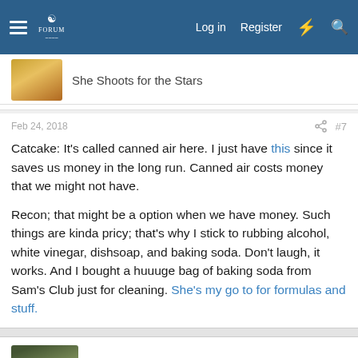Navigation bar with hamburger menu, logo, Log in, Register, and icons
She Shoots for the Stars
Feb 24, 2018  #7
Catcake: It's called canned air here. I just have this since it saves us money in the long run. Canned air costs money that we might not have.

Recon; that might be a option when we have money. Such things are kinda pricy; that's why I stick to rubbing alcohol, white vinegar, dishsoap, and baking soda. Don't laugh, it works. And I bought a huuuge bag of baking soda from Sam's Club just for cleaning. She's my go to for formulas and stuff.
Dreaded_Desire62
bronze member
Feb 24, 2018  #8